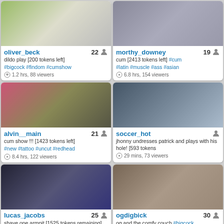[Figure (photo): Webcam thumbnail for oliver_beck]
oliver_beck 22
dildo play [200 tokens left] #bigcock #findom #cumshow
1.2 hrs, 88 viewers
[Figure (photo): Webcam thumbnail for morthy_downey]
morthy_downey 19
cum [2413 tokens left] #cum #latin #muscle #ass #asian
6.8 hrs, 154 viewers
[Figure (photo): Webcam thumbnail for alvin__main]
alvin__main 21
cum show !!! [1423 tokens left] #new #tattoo #uncut #redhead
8.4 hrs, 122 viewers
[Figure (photo): Webcam thumbnail for soccer_hot]
soccer_hot
jhonny undresses patrick and plays with his hole! [593 tokens
29 mins, 73 viewers
[Figure (photo): Webcam thumbnail for lucas_jacobs]
lucas_jacobs 25
shave one armpit [1525 tokens remaining]
2.8 hrs, 115 viewers
[Figure (photo): Webcam thumbnail for ogdigbick]
ogdigbick 30
og and the comfy couch #bigcock #ebony #blackcock #bbc
5.1 hrs, 133 viewers